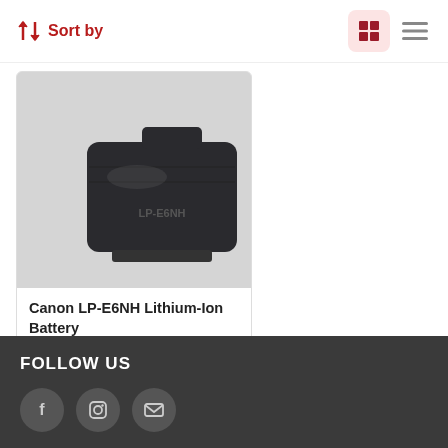↓↑ Sort by
[Figure (photo): Canon LP-E6NH Lithium-Ion Battery product image — dark grey/black battery pack on light grey background]
Canon LP-E6NH Lithium-Ion Battery
R 3,165.00
ADD TO CART
FOLLOW US